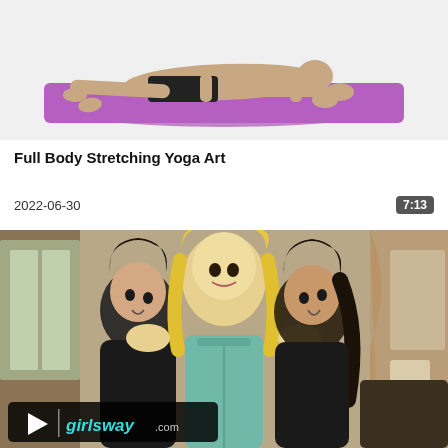[Figure (photo): Person lying face down on a purple yoga mat doing a stretching exercise, white background]
Full Body Stretching Yoga Art
2022-06-30
7:13
[Figure (photo): Three women in a living room scene with a blonde woman in a teal shirt holding the heads of two dark-haired women on either side, with girlsway.com watermark]